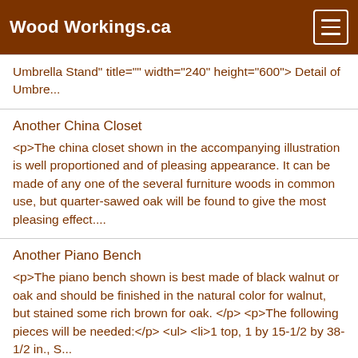Wood Workings.ca
Umbrella Stand" title="" width="240" height="600"> Detail of Umbre...
Another China Closet
<p>The china closet shown in the accompanying illustration is well proportioned and of pleasing appearance. It can be made of any one of the several furniture woods in common use, but quarter-sawed oak will be found to give the most pleasing effect....
Another Piano Bench
<p>The piano bench shown is best made of black walnut or oak and should be finished in the natural color for walnut, but stained some rich brown for oak. </p> <p>The following pieces will be needed:</p> <ul> <li>1 top, 1 by 15-1/2 by 38-1/2 in., S...
Another Screen